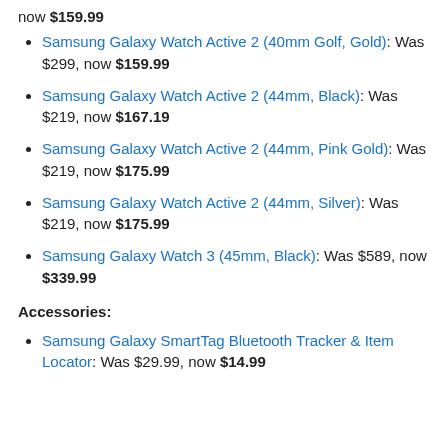now $159.99
Samsung Galaxy Watch Active 2 (40mm Golf, Gold): Was $299, now $159.99
Samsung Galaxy Watch Active 2 (44mm, Black): Was $219, now $167.19
Samsung Galaxy Watch Active 2 (44mm, Pink Gold): Was $219, now $175.99
Samsung Galaxy Watch Active 2 (44mm, Silver): Was $219, now $175.99
Samsung Galaxy Watch 3 (45mm, Black): Was $589, now $339.99
Accessories:
Samsung Galaxy SmartTag Bluetooth Tracker & Item Locator: Was $29.99, now $14.99